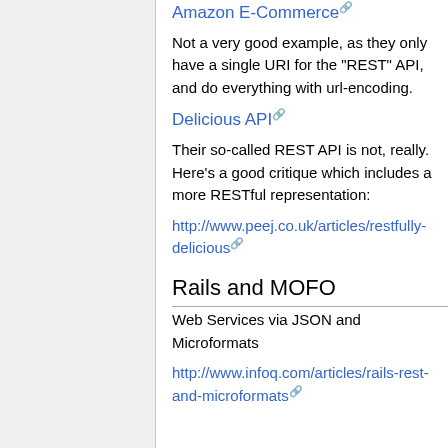Amazon E-Commerce
Not a very good example, as they only have a single URI for the "REST" API, and do everything with url-encoding.
Delicious API
Their so-called REST API is not, really. Here's a good critique which includes a more RESTful representation:
http://www.peej.co.uk/articles/restfully-delicious
Rails and MOFO
Web Services via JSON and Microformats
http://www.infoq.com/articles/rails-rest-and-microformats